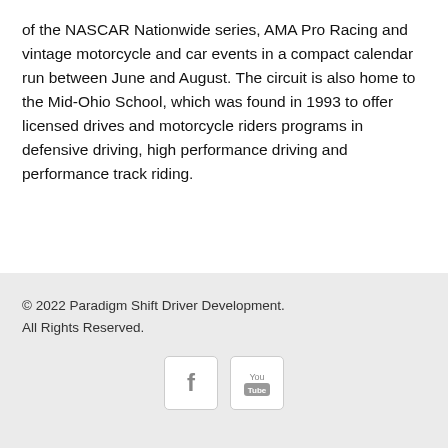of the NASCAR Nationwide series, AMA Pro Racing and vintage motorcycle and car events in a compact calendar run between June and August. The circuit is also home to the Mid-Ohio School, which was found in 1993 to offer licensed drives and motorcycle riders programs in defensive driving, high performance driving and performance track riding.
© 2022 Paradigm Shift Driver Development. All Rights Reserved.
[Figure (logo): Facebook icon and YouTube icon as social media links in the footer area]